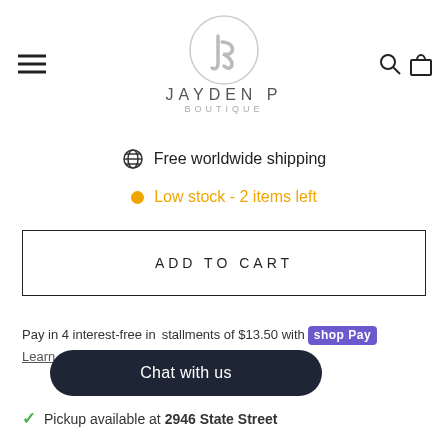[Figure (logo): Jayden P Boutique logo — circular JP monogram in grey with the text JAYDEN P BOUTIQUE below]
Free worldwide shipping
Low stock - 2 items left
ADD TO CART
Pay in 4 interest-free installments of $13.50 with shop Pay Learn more
Chat with us
Pickup available at 2946 State Street